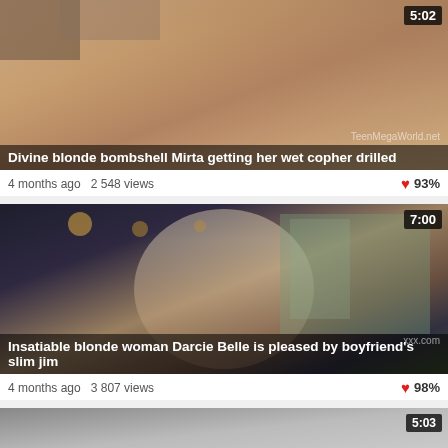[Figure (screenshot): Video thumbnail showing skin-toned close-up, duration badge 5:02, title overlay and watermark TeenMegaWorld.net]
Divine blonde bombshell Mirta getting her wet copher drilled
4 months ago  2 548 views   93%
[Figure (screenshot): Video thumbnail showing blonde woman and man embracing in modern interior, duration badge 7:00, title overlay]
Insatiable blonde woman Darcie Belle is pleased by boyfriend's slim jim
4 months ago  3 807 views   98%
[Figure (screenshot): Partially visible video thumbnail at bottom, duration badge 5:03]